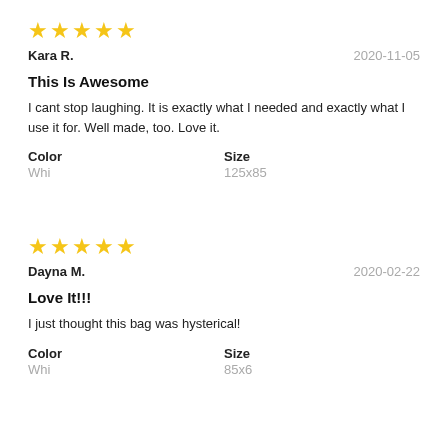[Figure (other): 5 yellow stars rating]
Kara R.                                        2020-11-05
This Is Awesome
I cant stop laughing. It is exactly what I needed and exactly what I use it for. Well made, too. Love it.
| Color | Size |
| --- | --- |
| Whi | 125x85 |
[Figure (other): 5 yellow stars rating]
Dayna M.                                       2020-02-22
Love It!!!
I just thought this bag was hysterical!
| Color | Size |
| --- | --- |
| Whi | 85x6 |